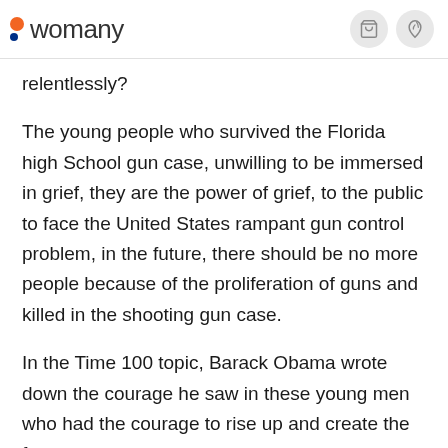womany
relentlessly?
The young people who survived the Florida high School gun case, unwilling to be immersed in grief, they are the power of grief, to the public to face the United States rampant gun control problem, in the future, there should be no more people because of the proliferation of guns and killed in the shooting gun case.
In the Time 100 topic, Barack Obama wrote down the courage he saw in these young men who had the courage to rise up and create the future: